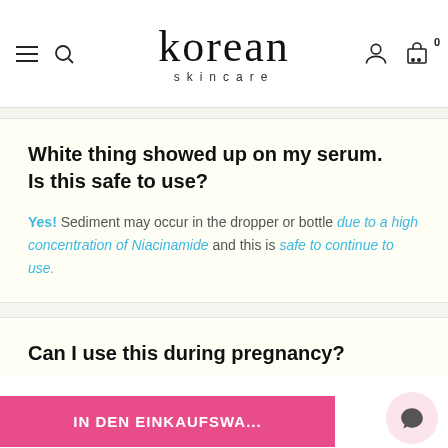korean skincare
White thing showed up on my serum. Is this safe to use?
Yes! Sediment may occur in the dropper or bottle due to a high concentration of Niacinamide and this is safe to continue to use.
Can I use this during pregnancy?
IN DEN EINKAUFSWA...